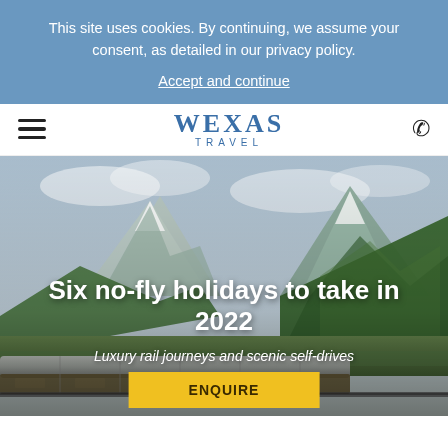This site uses cookies. By continuing, we assume your consent, as detailed in our privacy policy.
Accept and continue
[Figure (logo): Wexas Travel logo with hamburger menu and phone icon]
[Figure (photo): Scenic mountain landscape with snow-capped peaks, green forested hillsides, and a luxury train in the foreground]
Six no-fly holidays to take in 2022
Luxury rail journeys and scenic self-drives
ENQUIRE